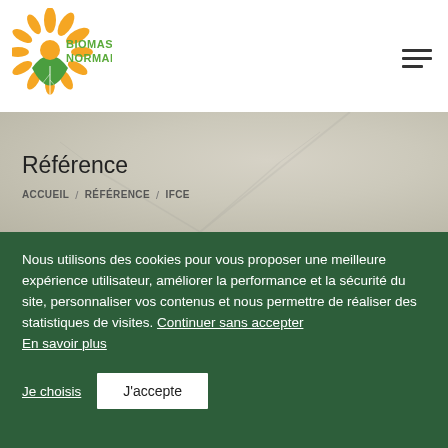[Figure (logo): Biomasse Normandie logo: sun and green leaf icon with text BIOMASSE NORMANDIE in green]
Référence
ACCUEIL / RÉFÉRENCE / IFCE
Nous utilisons des cookies pour vous proposer une meilleure expérience utilisateur, améliorer la performance et la sécurité du site, personnaliser vos contenus et nous permettre de réaliser des statistiques de visites. Continuer sans accepter
En savoir plus
Je choisis
J'accepte